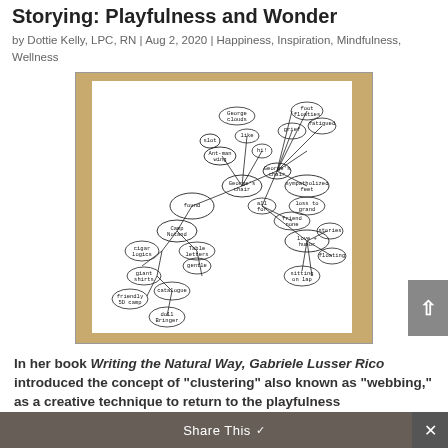Storying: Playfulness and Wonder
by Dottie Kelly, LPC, RN | Aug 2, 2020 | Happiness, Inspiration, Mindfulness, Wellness
[Figure (other): A hand-drawn clustering/webbing diagram on white paper showing interconnected oval nodes with handwritten text, placed on a tan/brown background. The nodes show various concepts connected by lines, including 'found', 'camp/notand', 'gentle', 'catalogue', 'love+humor', and many others representing a creative brainstorming exercise.]
In her book Writing the Natural Way, Gabriele Lusser Rico introduced the concept of "clustering" also known as "webbing," as a creative technique to return to the playfulness
Share This